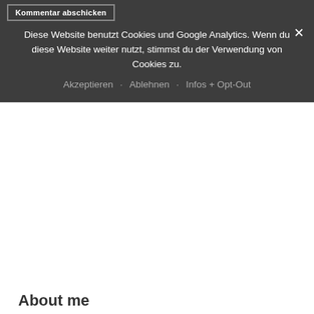Kommentar abschicken
Diese Website benutzt Cookies und Google Analytics. Wenn du diese Website weiter nutzt, stimmst du der Verwendung von Cookies zu.
Akzeptieren · Ablehnen · Infos + Opt-Out
About me